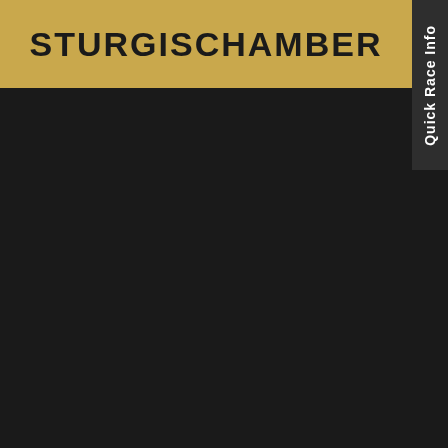STURGISCHAMBER
Quick Race Info